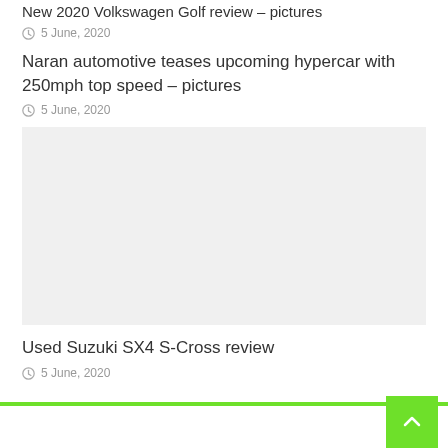New 2020 Volkswagen Golf review – pictures
5 June, 2020
Naran automotive teases upcoming hypercar with 250mph top speed – pictures
5 June, 2020
[Figure (photo): Image placeholder for Suzuki SX4 S-Cross article]
Used Suzuki SX4 S-Cross review
5 June, 2020